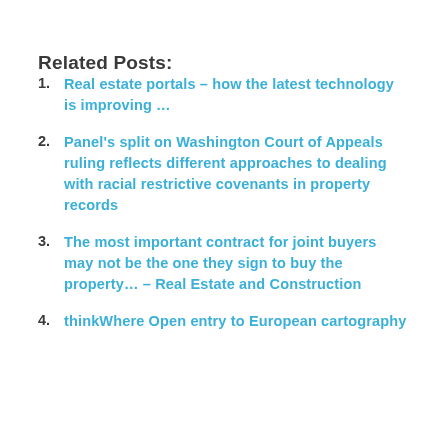Related Posts:
Real estate portals – how the latest technology is improving …
Panel's split on Washington Court of Appeals ruling reflects different approaches to dealing with racial restrictive covenants in property records
The most important contract for joint buyers may not be the one they sign to buy the property… – Real Estate and Construction
thinkWhere Open entry to European cartography